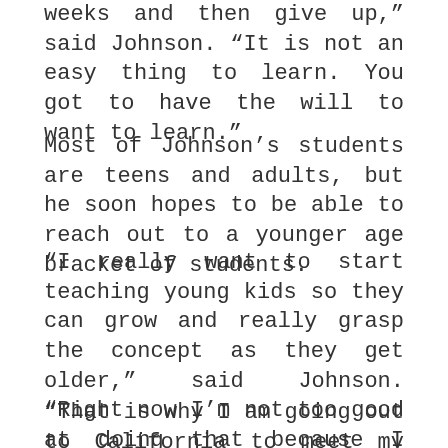weeks and then give up,” said Johnson. “It is not an easy thing to learn. You got to have the will to want to learn.”
Most of Johnson’s students are teens and adults, but he soon hopes to be able to reach out to a younger age bracket of students.
“I really want to start teaching young kids so they can grow and really grasp the concept as they get older,” said Johnson. “Right now I’m not too good at doing that because I don’t know how to approach it in a friendly way.
“That is why I am going out to California to meet my instructor and go to his classes and see how he works with his young students.”